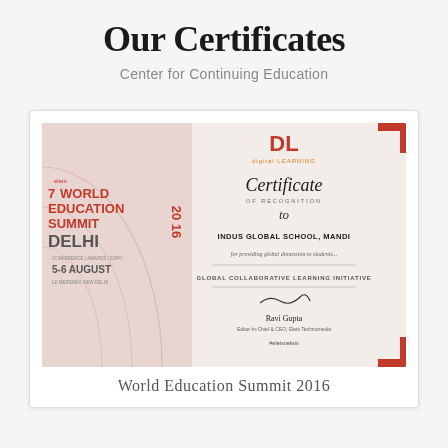Our Certificates
Center for Continuing Education
[Figure (photo): A photograph of a certificate from Elets 7th World Education Summit 2016 Delhi, 5-6 August. The right side shows a 'DL digital LEARNING' branded Certificate of Recognition awarded to 'INDUS GLOBAL SCHOOL, MANDI' for the 'GLOBAL COLLABORATIVE LEARNING INITIATIVE', signed by Ravi Gupta, Editor-in-Chief & CEO, Elets Technomedia.]
World Education Summit 2016